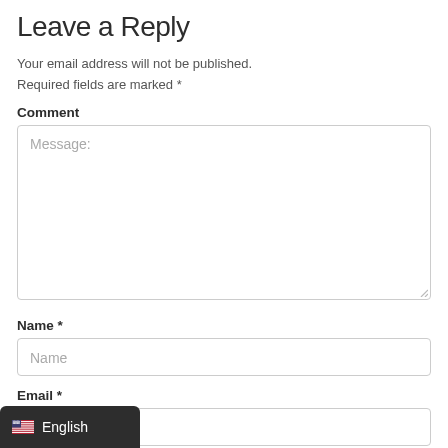Leave a Reply
Your email address will not be published. Required fields are marked *
Comment
[Figure (screenshot): Large textarea input field with placeholder text 'Message:']
Name *
[Figure (screenshot): Text input field with placeholder text 'Name']
Email *
[Figure (screenshot): Text input field for email (partially visible)]
[Figure (screenshot): Language selector bar showing US flag and 'English' text on dark background]